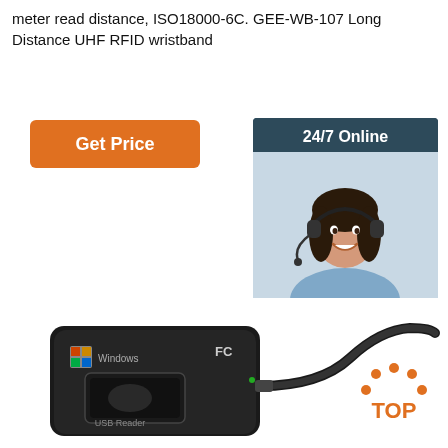meter read distance, ISO18000-6C. GEE-WB-107 Long Distance UHF RFID wristband
[Figure (other): Orange 'Get Price' button]
[Figure (other): 24/7 Online customer service sidebar with photo of woman wearing headset, 'Click here for free chat!' text, and orange QUOTATION button]
[Figure (photo): Black USB RFID card reader device with Windows logo and FC mark, labeled 'USB Reader', with USB cable attached]
[Figure (other): Orange TOP badge/logo in bottom right corner]